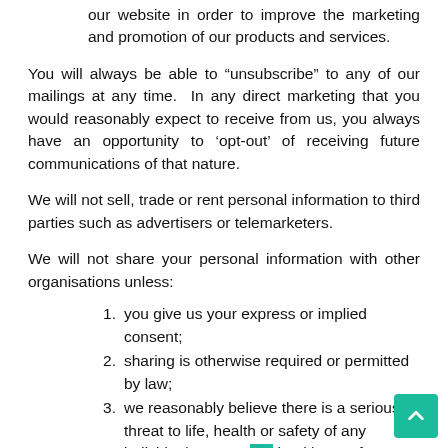our website in order to improve the marketing and promotion of our products and services.
You will always be able to “unsubscribe” to any of our mailings at any time.  In any direct marketing that you would reasonably expect to receive from us, you always have an opportunity to ‘opt-out’ of receiving future communications of that nature.
We will not sell, trade or rent personal information to third parties such as advertisers or telemarketers.
We will not share your personal information with other organisations unless:
you give us your express or implied consent;
sharing is otherwise required or permitted by law;
we reasonably believe there is a serious threat to life, health or safety of any individual, or to public health or safety;